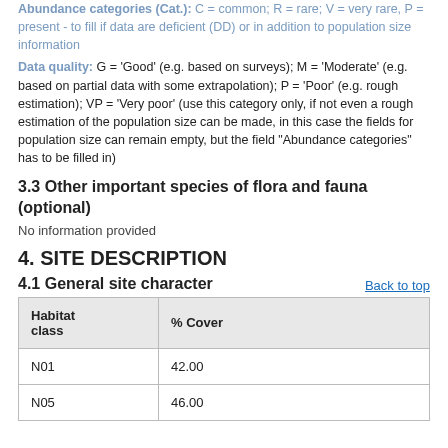Abundance categories (Cat.): C = common; R = rare; V = very rare, P = present - to fill if data are deficient (DD) or in addition to population size information
Data quality: G = 'Good' (e.g. based on surveys); M = 'Moderate' (e.g. based on partial data with some extrapolation); P = 'Poor' (e.g. rough estimation); VP = 'Very poor' (use this category only, if not even a rough estimation of the population size can be made, in this case the fields for population size can remain empty, but the field "Abundance categories" has to be filled in)
3.3 Other important species of flora and fauna (optional)
No information provided
4. SITE DESCRIPTION
4.1 General site character
Back to top
| Habitat class | % Cover |
| --- | --- |
| N01 | 42.00 |
| N05 | 46.00 |